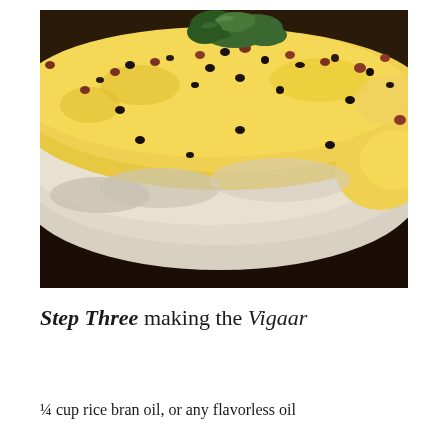[Figure (photo): Close-up photo of a piece of dhokla or similar Indian steamed cake with dark seeds (mustard and sesame) scattered on top, garnished with fresh cilantro/coriander, showing yellow and white spongy texture, placed on a dark surface.]
Step Three making the Vigaar
¼ cup rice bran oil, or any flavorless oil